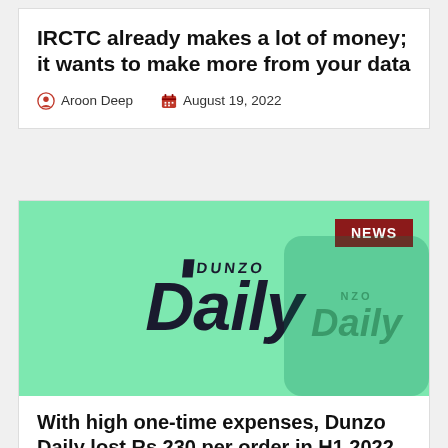IRCTC already makes a lot of money; it wants to make more from your data
Aroon Deep   August 19, 2022
[Figure (photo): Dunzo Daily logo on a green background with a dark green bag showing Dunzo Daily branding, with a dark red NEWS badge in the top right corner]
With high one-time expenses, Dunzo Daily lost Rs 230 per order in H1 2022